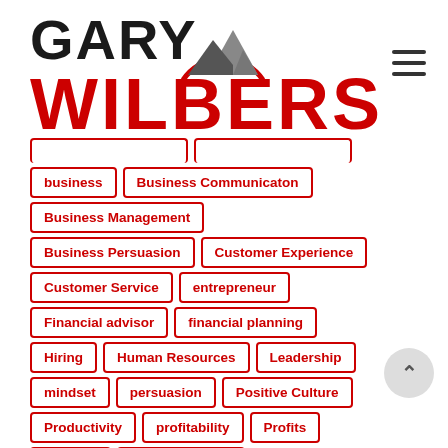[Figure (logo): Gary Wilbers logo with mountain graphic and red semi-circle arc]
business
Business Communicaton
Business Management
Business Persuasion
Customer Experience
Customer Service
entrepreneur
Financial advisor
financial planning
Hiring
Human Resources
Leadership
mindset
persuasion
Positive Culture
Productivity
profitability
Profits
purpose
Small Business